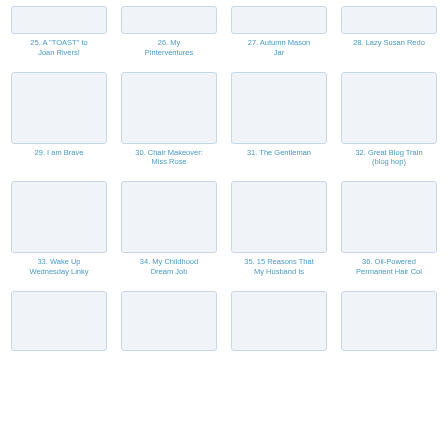[Figure (thumbnail): Thumbnail image placeholder 25]
25. A "TOAST" to Joan Rivers!
[Figure (thumbnail): Thumbnail image placeholder 26]
26. My Pinterventures
[Figure (thumbnail): Thumbnail image placeholder 27]
27. Autumn Mason Jar
[Figure (thumbnail): Thumbnail image placeholder 28]
28. Lazy Susan Redo
[Figure (thumbnail): Thumbnail image placeholder 29]
29. I am Brave
[Figure (thumbnail): Thumbnail image placeholder 30]
30. Chair Makeover: Miss Rose
[Figure (thumbnail): Thumbnail image placeholder 31]
31. The Gentleman
[Figure (thumbnail): Thumbnail image placeholder 32]
32. Great Blog Train (blog hop)
[Figure (thumbnail): Thumbnail image placeholder 33]
33. Wake Up Wednesday Linky
[Figure (thumbnail): Thumbnail image placeholder 34]
34. My Childhood Dream Job
[Figure (thumbnail): Thumbnail image placeholder 35]
35. 15 Reasons That My Husband Is
[Figure (thumbnail): Thumbnail image placeholder 36]
36. Oil-Powered Permanent Hair Col
[Figure (thumbnail): Thumbnail image placeholder 37]
[Figure (thumbnail): Thumbnail image placeholder 38]
[Figure (thumbnail): Thumbnail image placeholder 39]
[Figure (thumbnail): Thumbnail image placeholder 40]